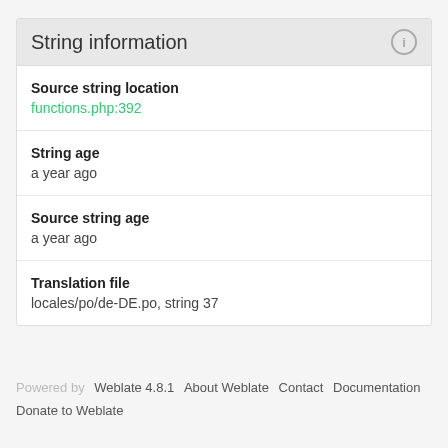String information
Source string location
functions.php:392
String age
a year ago
Source string age
a year ago
Translation file
locales/po/de-DE.po, string 37
Powered by Weblate 4.8.1  About Weblate  Contact  Documentation  Donate to Weblate